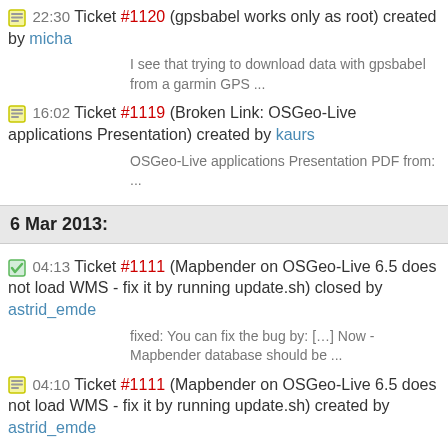22:30 Ticket #1120 (gpsbabel works only as root) created by micha
I see that trying to download data with gpsbabel from a garmin GPS ...
16:02 Ticket #1119 (Broken Link: OSGeo-Live applications Presentation) created by kaurs
OSGeo-Live applications Presentation PDF from: ...
6 Mar 2013:
04:13 Ticket #1111 (Mapbender on OSGeo-Live 6.5 does not load WMS - fix it by running update.sh) closed by astrid_emde
fixed: You can fix the bug by: [...] Now - Mapbender database should be ...
04:10 Ticket #1111 (Mapbender on OSGeo-Live 6.5 does not load WMS - fix it by running update.sh) created by astrid_emde
I noticed that Mapbender on OSGeo-Live 6.5 produces an error when ...